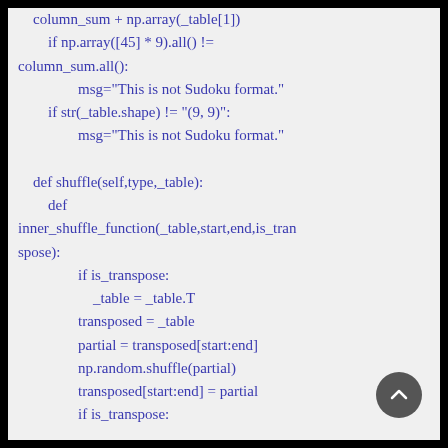column_sum + np.array(_table[1])
        if np.array([45] * 9).all() !=
column_sum.all():
                msg="This is not Sudoku format."
        if str(_table.shape) != "(9, 9)":
                msg="This is not Sudoku format."

    def shuffle(self,type,_table):
        def
inner_shuffle_function(_table,start,end,is_tran
spose):
                if is_transpose:
                    _table = _table.T
                transposed = _table
                partial = transposed[start:end]
                np.random.shuffle(partial)
                transposed[start:end] = partial
                if is_transpose: